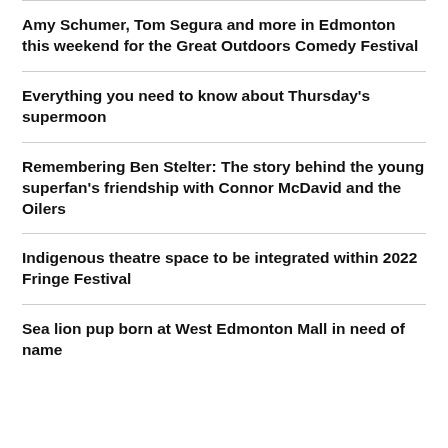Amy Schumer, Tom Segura and more in Edmonton this weekend for the Great Outdoors Comedy Festival
Everything you need to know about Thursday's supermoon
Remembering Ben Stelter: The story behind the young superfan's friendship with Connor McDavid and the Oilers
Indigenous theatre space to be integrated within 2022 Fringe Festival
Sea lion pup born at West Edmonton Mall in need of name